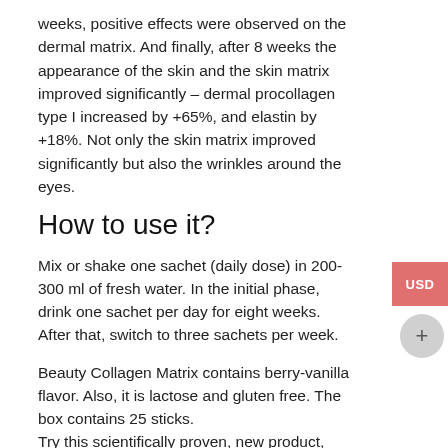weeks, positive effects were observed on the dermal matrix. And finally, after 8 weeks the appearance of the skin and the skin matrix improved significantly – dermal procollagen type I increased by +65%, and elastin by +18%. Not only the skin matrix improved significantly but also the wrinkles around the eyes.
How to use it?
Mix or shake one sachet (daily dose) in 200-300 ml of fresh water. In the initial phase, drink one sachet per day for eight weeks. After that, switch to three sachets per week.
Beauty Collagen Matrix contains berry-vanilla flavor. Also, it is lactose and gluten free. The box contains 25 sticks. Try this scientifically proven, new product, and you will see all of its potent and science-safe effects! Certainly, it won't fail your healthy expectations!
Your body needs the best treatment. Today the collagen is not an option. However, it is a necessity for many. Do not overlook the